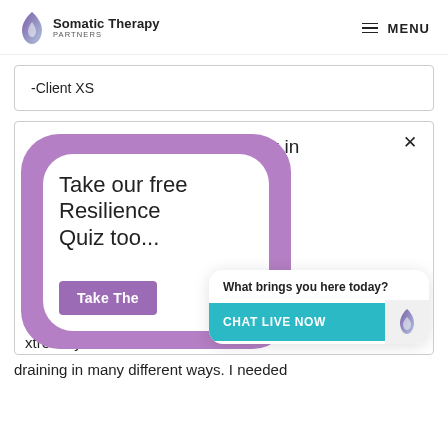[Figure (logo): Somatic Therapy Partners logo with flame icon]
MENU
-Client XS
[Figure (screenshot): Popup overlay showing 'Take our free Resilience Quiz too...' with purple rounded border, pink close button, and a 'Take The...' purple button. Also shows partial card text: 'ch Work in', 's system', 'ome very', 'ears and'. Chat widget shows 'What brings you here today?' and 'CHAT LIVE NOW' button.]
draining in many different ways. I needed